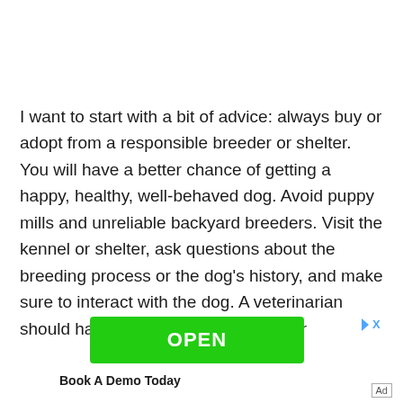I want to start with a bit of advice: always buy or adopt from a responsible breeder or shelter. You will have a better chance of getting a happy, healthy, well-behaved dog. Avoid puppy mills and unreliable backyard breeders. Visit the kennel or shelter, ask questions about the breeding process or the dog's history, and make sure to interact with the dog. A veterinarian should have seen the dog before your
[Figure (other): Green OPEN button advertisement banner with close/skip icon]
Book A Demo Today
Ad